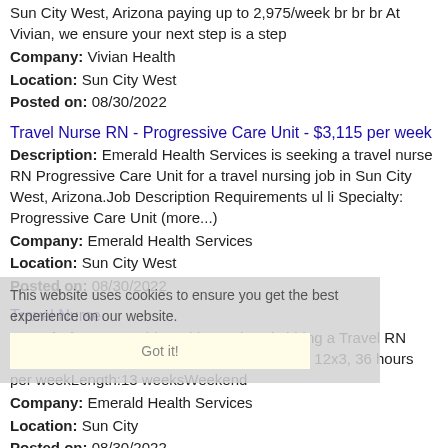Sun City West, Arizona paying up to 2,975/week br br br At Vivian, we ensure your next step is a step
Company: Vivian Health
Location: Sun City West
Posted on: 08/30/2022
Travel Nurse RN - Progressive Care Unit - $3,115 per week
Description: Emerald Health Services is seeking a travel nurse RN Progressive Care Unit for a travel nursing job in Sun City West, Arizona.Job Description Requirements ul li Specialty: Progressive Care Unit (more...)
Company: Emerald Health Services
Location: Sun City West
Posted on: 08/30/2022
Travel Nurse
Description: Emerald Health Services is hiring a Travel RN Progressive Care PCU Shift: Days, 7a-7:30p, 12x3, 36 hours per weekLength:13 weeksWeekend
Company: Emerald Health Services
Location: Sun City
Posted on: 08/30/2022
Travel Nurse RN - Med Surg - $2,655 per week, Nights